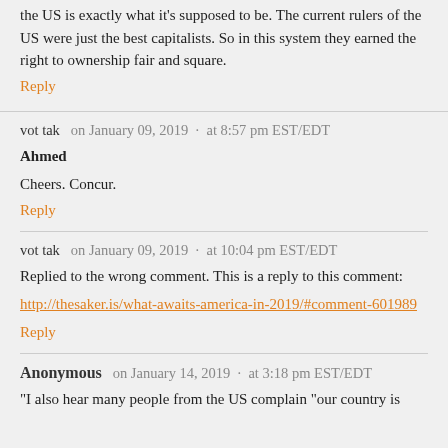the US is exactly what it's supposed to be. The current rulers of the US were just the best capitalists. So in this system they earned the right to ownership fair and square.
Reply
vot tak  on January 09, 2019  ·  at 8:57 pm EST/EDT
Ahmed
Cheers. Concur.
Reply
vot tak  on January 09, 2019  ·  at 10:04 pm EST/EDT
Replied to the wrong comment. This is a reply to this comment:
http://thesaker.is/what-awaits-america-in-2019/#comment-601989
Reply
Anonymous  on January 14, 2019  ·  at 3:18 pm EST/EDT
"I also hear many people from the US complain "our country is